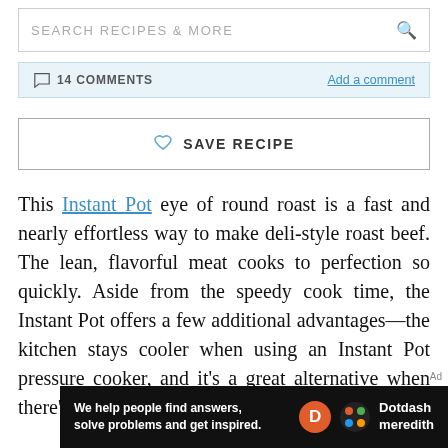SEARCH RECIPES & MORE
14 COMMENTS   Add a comment
♡ SAVE RECIPE
This Instant Pot eye of round roast is a fast and nearly effortless way to make deli-style roast beef. The lean, flavorful meat cooks to perfection so quickly. Aside from the speedy cook time, the Instant Pot offers a few additional advantages—the kitchen stays cooler when using an Instant Pot pressure cooker, and it's a great alternative when there's simply no room in
Ad
We help people find answers, solve problems and get inspired. Dotdash meredith